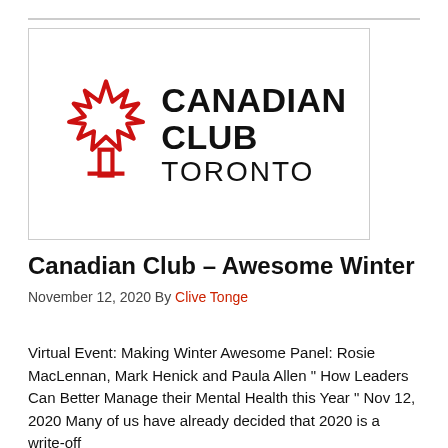[Figure (logo): Canadian Club Toronto logo: red maple leaf outline on the left, bold black text 'CANADIAN CLUB' and lighter 'TORONTO' on the right, inside a bordered rectangle.]
Canadian Club – Awesome Winter
November 12, 2020 By Clive Tonge
Virtual Event: Making Winter Awesome Panel: Rosie MacLennan, Mark Henick and Paula Allen " How Leaders Can Better Manage their Mental Health this Year " Nov 12, 2020 Many of us have already decided that 2020 is a write-off